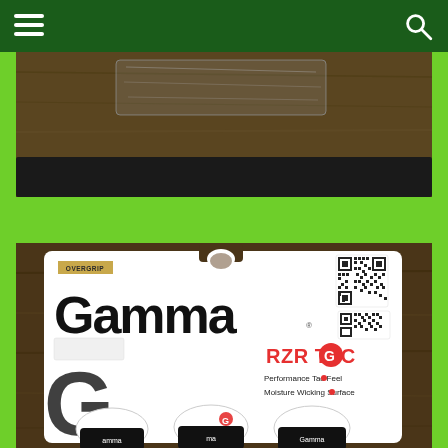Navigation header with hamburger menu and search icon on dark green background
[Figure (photo): Partial photo showing what appears to be a plastic wrapper or tape on a wooden surface, cut off at top]
[Figure (photo): Photo of Gamma RZR TAC Overgrip product packaging on a wooden surface. Package shows 'GAMMA' logo in large black text, 'RZR TAC' in red with a Gamma logo icon, features listed: 'Performance Tac Feel' and 'Moisture Wicking Surface' with red dots, a QR code top right, a gold 'OVERGRIP' label, a hanger hole at top, and three white tennis overgrips with Gamma branding at the bottom of the package.]